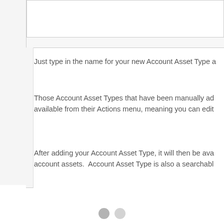[Figure (screenshot): A UI panel or dialog box area at the top of the page, partially visible, showing a white input/content box with a gray border on a light gray background.]
Just type in the name for your new Account Asset Type a
Those Account Asset Types that have been manually ad available from their Actions menu, meaning you can edit
After adding your Account Asset Type, it will then be ava account assets.  Account Asset Type is also a searchabl